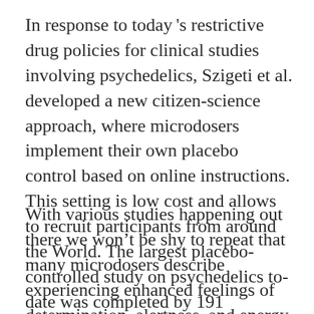In response to today's restrictive drug policies for clinical studies involving psychedelics, Szigeti et al. developed a new citizen-science approach, where microdosers implement their own placebo control based on online instructions. This setting is low cost and allows to recruit participants from around the World. The largest placebo-controlled study on psychedelics to-date was completed by 191 microdosers.
With various studies happening out there we won't be shy to repeat that many microdosers describe experiencing enhanced feelings of determination, alertness, and energy, witnessing an overall ameliorated focus, creativity, problem